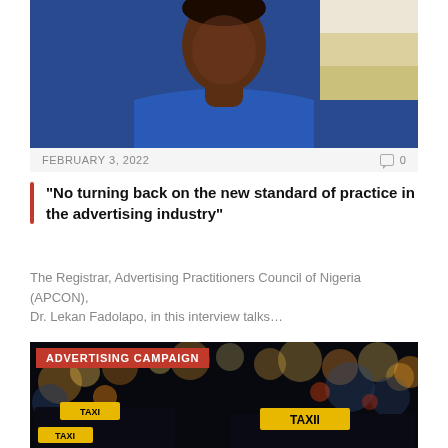[Figure (photo): Portrait photo of a man in a blue traditional Nigerian attire (Senegalese shirt), photographed against a background with a flag visible. Only the lower face, neck, and torso are visible.]
FEBRUARY 3, 2022   0
“No turning back on the new standard of practice in the advertising industry”
The Registrar, Advertising Practitioners Council of Nigeria (APCON), Dr. Lekan Fadolapo, in this interview talks…
[Figure (photo): Night scene showing taxi cabs with illuminated TAXI signs on a blurry city street with bokeh lights in the background.]
ADVERTISING CAMPAIGN